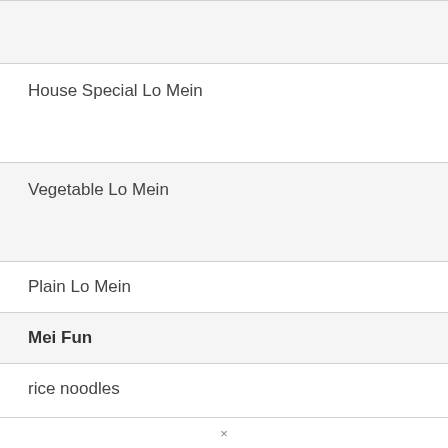House Special Lo Mein
Vegetable Lo Mein
Plain Lo Mein
Mei Fun
rice noodles